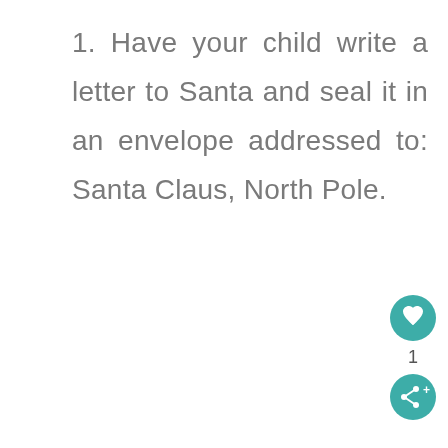1. Have your child write a letter to Santa and seal it in an envelope addressed to: Santa Claus, North Pole.
[Figure (infographic): UI widget showing a teal circular heart/like button, a count of '1', and a teal circular share button with a plus sign, positioned at the bottom-right of the page.]